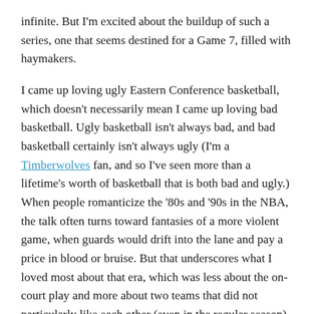infinite. But I'm excited about the buildup of such a series, one that seems destined for a Game 7, filled with haymakers.

I came up loving ugly Eastern Conference basketball, which doesn't necessarily mean I came up loving bad basketball. Ugly basketball isn't always bad, and bad basketball certainly isn't always ugly (I'm a Timberwolves fan, and so I've seen more than a lifetime's worth of basketball that is both bad and ugly.) When people romanticize the '80s and '90s in the NBA, the talk often turns toward fantasies of a more violent game, when guards would drift into the lane and pay a price in blood or bruise. But that underscores what I loved most about that era, which was less about the on-court play and more about two teams that did not particularly like each other (even in the regular season) figuring out the math of how to triumph and leave nothing behind. I liked how exhausted Patrick Ewing always looked in games, with rivers of sweat as the evidence of his labor. This is a failure of my youthful imagination but rare exceptions aside (Penny Hardaway